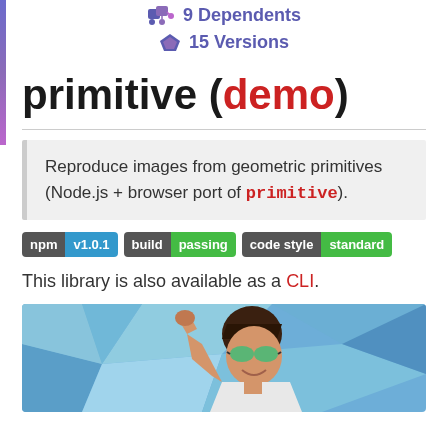9 Dependents
15 Versions
primitive (demo)
Reproduce images from geometric primitives (Node.js + browser port of primitive).
[Figure (other): Badge: npm v1.0.1]
[Figure (other): Badge: build passing]
[Figure (other): Badge: code style standard]
This library is also available as a CLI.
[Figure (photo): A person with dark hair and green sunglasses raising their fist, set against a geometric low-poly art blue sky background.]